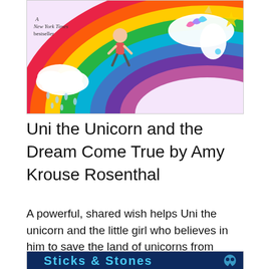[Figure (illustration): Book cover of 'Uni the Unicorn and the Dream Come True' with colorful rainbow illustration and unicorn. Text reads 'A New York Times bestseller' in the upper left corner.]
Uni the Unicorn and the Dream Come True by Amy Krouse Rosenthal
A powerful, shared wish helps Uni the unicorn and the little girl who believes in him to save the land of unicorns from endless rain.
[Figure (illustration): Partial view of another book cover with a dark navy background and light blue text.]